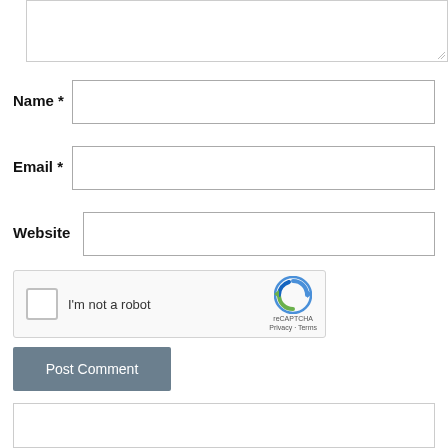[Figure (screenshot): Textarea input box (partially visible at top of page) with resize handle at bottom-right corner]
Name *
[Figure (screenshot): Text input field for Name]
Email *
[Figure (screenshot): Text input field for Email]
Website
[Figure (screenshot): Text input field for Website]
[Figure (screenshot): reCAPTCHA widget with checkbox labeled I'm not a robot and reCAPTCHA logo with Privacy and Terms links]
[Figure (screenshot): Post Comment button in grey-blue color]
[Figure (screenshot): Empty box at bottom of page (partial view)]